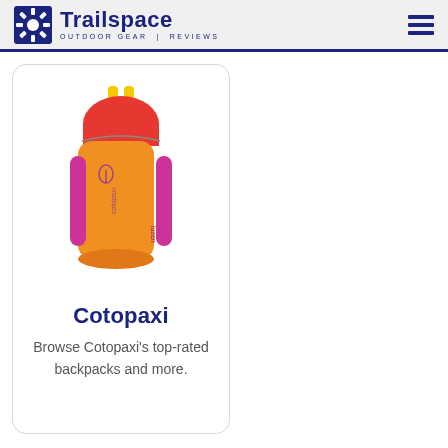Trailspace OUTDOOR GEAR REVIEWS
[Figure (photo): A Cotopaxi backpack in orange, red, and pink/magenta colors with yellow handle straps, shown from the front against a white background.]
Cotopaxi
Browse Cotopaxi's top-rated backpacks and more.